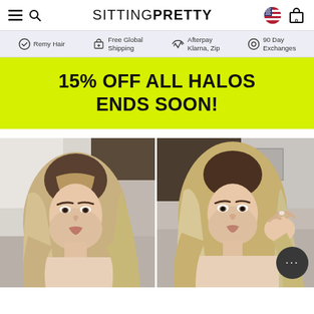SITTING PRETTY — navigation bar with hamburger, search, brand name, flag, bag (0)
Remy Hair | Free Global Shipping | Afterpay Klarna, Zip | 90 Day Exchanges
15% OFF ALL HALOS ENDS SOON!
[Figure (photo): Two side-by-side photos of a woman with long wavy blonde highlighted hair, front-facing beauty shots in an interior setting.]